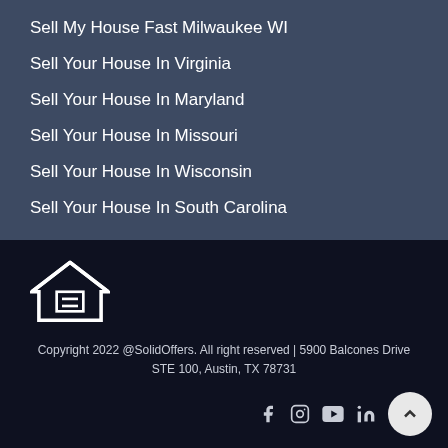Sell My House Fast Milwaukee WI
Sell Your House In Virginia
Sell Your House In Maryland
Sell Your House In Missouri
Sell Your House In Wisconsin
Sell Your House In South Carolina
[Figure (logo): Equal Housing Opportunity logo — house icon with equal sign]
Copyright 2022 @SolidOffers. All right reserved | 5900 Balcones Drive STE 100, Austin, TX 78731